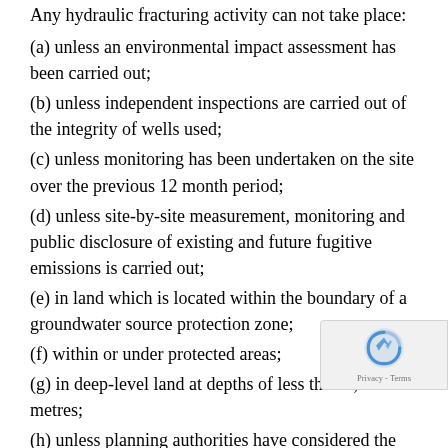Any hydraulic fracturing activity can not take place:
(a) unless an environmental impact assessment has been carried out;
(b) unless independent inspections are carried out of the integrity of wells used;
(c) unless monitoring has been undertaken on the site over the previous 12 month period;
(d) unless site-by-site measurement, monitoring and public disclosure of existing and future fugitive emissions is carried out;
(e) in land which is located within the boundary of a groundwater source protection zone;
(f) within or under protected areas;
(g) in deep-level land at depths of less than 1,000 metres;
(h) unless planning authorities have considered the cumulative impact of hydraulic fracturing activities in